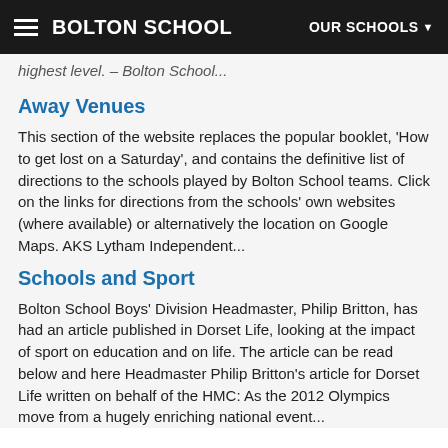BOLTON SCHOOL | OUR SCHOOLS
highest level. – Bolton School...
Away Venues
This section of the website replaces the popular booklet, 'How to get lost on a Saturday', and contains the definitive list of directions to the schools played by Bolton School teams. Click on the links for directions from the schools' own websites (where available) or alternatively the location on Google Maps. AKS Lytham Independent...
Schools and Sport
Bolton School Boys' Division Headmaster, Philip Britton, has had an article published in Dorset Life, looking at the impact of sport on education and on life. The article can be read below and here Headmaster Philip Britton's article for Dorset Life written on behalf of the HMC: As the 2012 Olympics move from a hugely enriching national event...